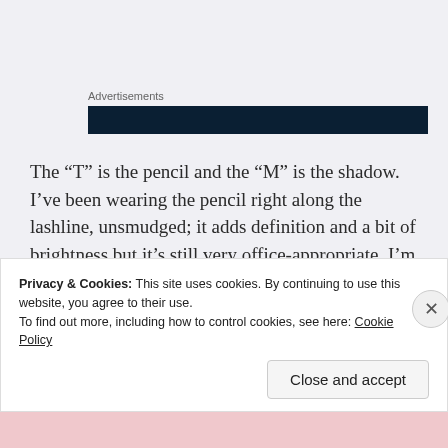Advertisements
[Figure (other): Dark navy blue advertisement banner bar]
The “T” is the pencil and the “M” is the shadow. I’ve been wearing the pencil right along the lashline, unsmudged; it adds definition and a bit of brightness but it’s still very office-appropriate. I’m finding that the shadow works better for me if I dab it onto my fingertip, then apply and blend to my lid with my that
Privacy & Cookies: This site uses cookies. By continuing to use this website, you agree to their use.
To find out more, including how to control cookies, see here: Cookie Policy
Close and accept